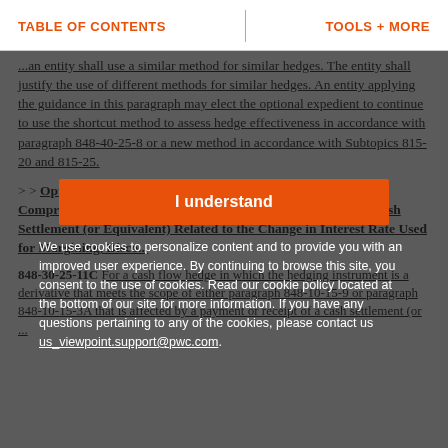TABLE OF CONTENTS   TOOLS + MORE
an entity shall use a similar method for similar hedges. The entity shall justify the use of different methods for similar hedges. An entity applying the guidance in this paragraph may elect the optional expedient to continue to use the shortcut method to assess hedge effectiveness in accordance with paragraph 848-40-25-8 or a new method in accordance with Subtopics 815-20 and 815-25.
> > Optional Expedient: Adjustment to Accumulated Other Comprehensive Income for a Cash Flow Hedge Affected by a Cash Settlement (or Equivalent) Related to the Change in Interest Rate Used for Margining, Disco...
848-30-25-11C For a cash flow hedge in which the hedging instrument is a derivative that meets the scope of either paragraph 848-10-15-9 or paragraph 848-10-15-3A that is affected by a payment or receipt of a cash settlement (or ...
We use cookies to personalize content and to provide you with an improved user experience. By continuing to browse this site, you consent to the use of cookies. Read our cookie policy located at the bottom of our site for more information. If you have any questions pertaining to any of the cookies, please contact us us_viewpoint.support@pwc.com.